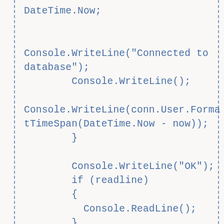DateTime.Now;


Console.WriteLine("Connected to database");
        Console.WriteLine();

Console.WriteLine(conn.User.FormatTimeSpan(DateTime.Now - now));
        }

        Console.WriteLine("OK");
        if (readline)
        {
          Console.ReadLine();
        }
      }
    }
}